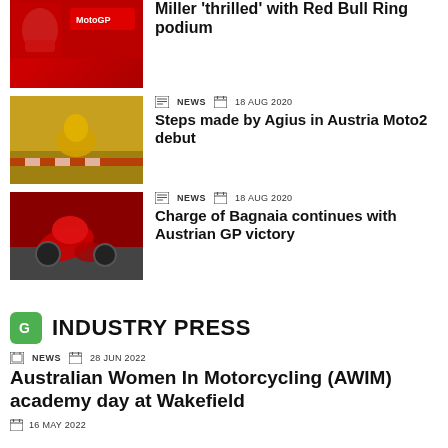[Figure (photo): Motorcycle racer in red Ducati gear on podium with MotoGP logo]
Miller 'thrilled' with Red Bull Ring podium
[Figure (photo): Motorcycle racer in yellow/black gear on track at Red Bull Ring]
NEWS  18 AUG 2020
Steps made by Agius in Austria Moto2 debut
[Figure (photo): Red Ducati motorcycle racer leaning into corner on track]
NEWS  18 AUG 2020
Charge of Bagnaia continues with Austrian GP victory
INDUSTRY PRESS
NEWS  28 JUN 2022
Australian Women In Motorcycling (AWIM) academy day at Wakefield
16 MAY 2022